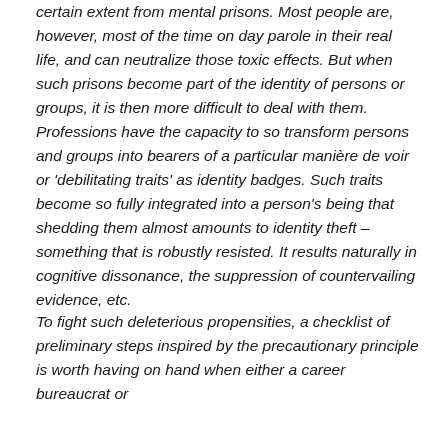certain extent from mental prisons. Most people are, however, most of the time on day parole in their real life, and can neutralize those toxic effects. But when such prisons become part of the identity of persons or groups, it is then more difficult to deal with them. Professions have the capacity to so transform persons and groups into bearers of a particular manière de voir or 'debilitating traits' as identity badges. Such traits become so fully integrated into a person's being that shedding them almost amounts to identity theft – something that is robustly resisted. It results naturally in cognitive dissonance, the suppression of countervailing evidence, etc.
To fight such deleterious propensities, a checklist of preliminary steps inspired by the precautionary principle is worth having on hand when either a career bureaucrat or